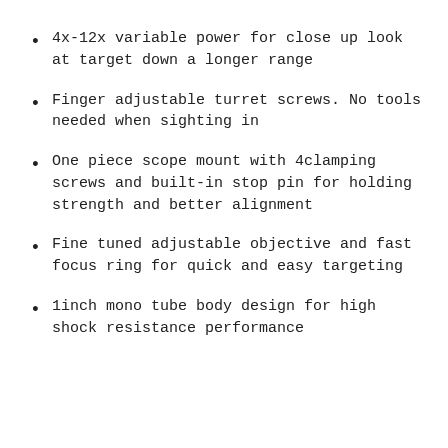4x-12x variable power for close up look at target down a longer range
Finger adjustable turret screws. No tools needed when sighting in
One piece scope mount with 4clamping screws and built-in stop pin for holding strength and better alignment
Fine tuned adjustable objective and fast focus ring for quick and easy targeting
1inch mono tube body design for high shock resistance performance